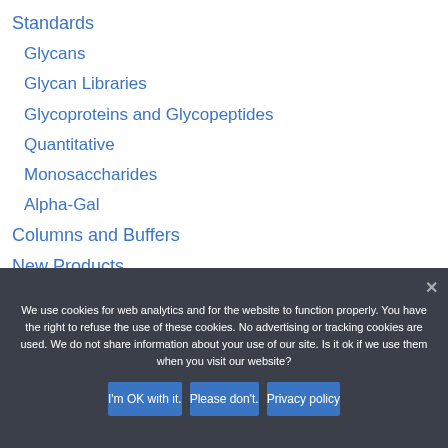Standards
Glycans
Glycan Libraries
Glycoproteins and Glycopeptides
Quantitative
Monosaccharides
Alpha-Gal
Columns and Buffers
New Products
We use cookies for web analytics and for the website to function properly. You have the right to refuse the use of these cookies. No advertising or tracking cookies are used. We do not share information about your use of our site. Is it ok if we use them when you visit our website?
I'm OK with it. | Please don't. | Privacy policy